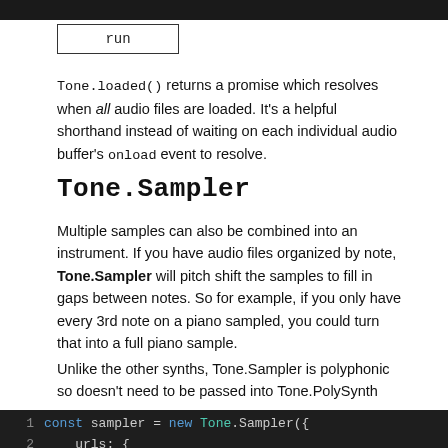[Figure (screenshot): Run button widget — a box with the label 'run' in monospace font]
Tone.loaded() returns a promise which resolves when all audio files are loaded. It's a helpful shorthand instead of waiting on each individual audio buffer's onload event to resolve.
Tone.Sampler
Multiple samples can also be combined into an instrument. If you have audio files organized by note, Tone.Sampler will pitch shift the samples to fill in gaps between notes. So for example, if you only have every 3rd note on a piano sampled, you could turn that into a full piano sample.
Unlike the other synths, Tone.Sampler is polyphonic so doesn't need to be passed into Tone.PolySynth
[Figure (screenshot): Dark-themed code block showing JavaScript: line 1: const sampler = new Tone.Sampler({, line 2:     urls: {, line 3:         "C4": "C4.mp3"]